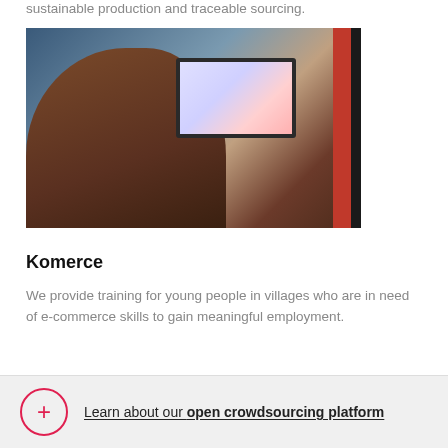sustainable production and traceable sourcing.
[Figure (photo): Two young people sitting at laptops, viewed from behind, with a red and black vertical bar on the right side of the image.]
Komerce
We provide training for young people in villages who are in need of e-commerce skills to gain meaningful employment.
Learn about our open crowdsourcing platform